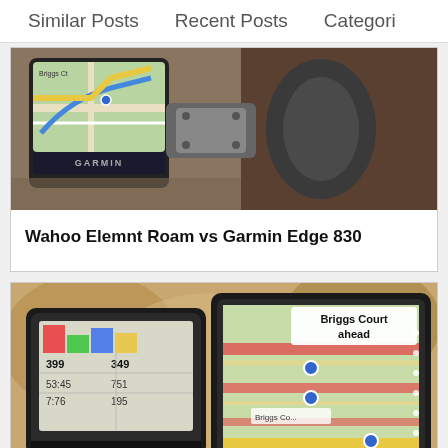Similar Posts   Recent Posts   Categori
[Figure (photo): Photo of a Garmin GPS cycling computer mounted on bicycle handlebars showing a map navigation screen]
Wahoo Elemnt Roam vs Garmin Edge 830
[Figure (photo): Photo of two cycling GPS computers side by side - one showing data metrics and another showing a color navigation map with 'Briggs Court ahead' displayed]